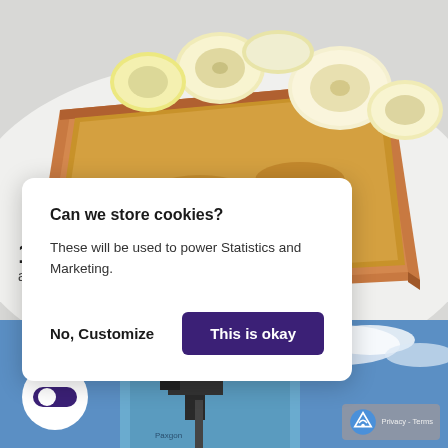[Figure (photo): Photo of toast with peanut butter and banana slices on a white plate, top portion of page]
[Figure (photo): Photo of a person in a light blue shirt holding camera equipment, blue sky with clouds in background, bottom portion of page]
Can we store cookies?
These will be used to power Statistics and Marketing.
No, Customize
This is okay